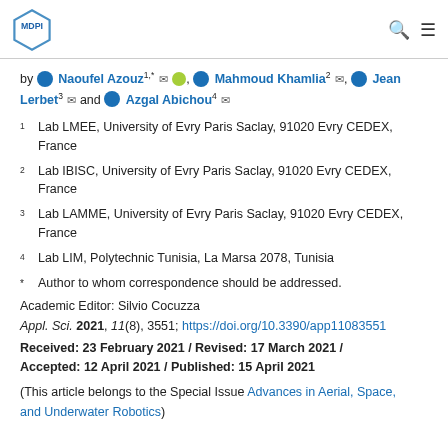MDPI logo with search and menu icons
by Naoufel Azouz 1,* , Mahmoud Khamlia 2 , Jean Lerbet 3 and Azgal Abichou 4
1 Lab LMEE, University of Evry Paris Saclay, 91020 Evry CEDEX, France
2 Lab IBISC, University of Evry Paris Saclay, 91020 Evry CEDEX, France
3 Lab LAMME, University of Evry Paris Saclay, 91020 Evry CEDEX, France
4 Lab LIM, Polytechnic Tunisia, La Marsa 2078, Tunisia
* Author to whom correspondence should be addressed.
Academic Editor: Silvio Cocuzza
Appl. Sci. 2021, 11(8), 3551; https://doi.org/10.3390/app11083551
Received: 23 February 2021 / Revised: 17 March 2021 / Accepted: 12 April 2021 / Published: 15 April 2021
(This article belongs to the Special Issue Advances in Aerial, Space, and Underwater Robotics)